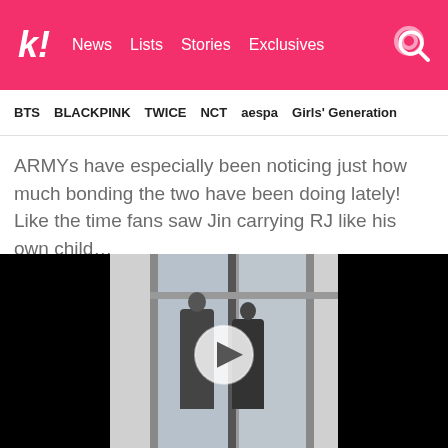k! News Lists Stories Exclusives
BTS BLACKPINK TWICE NCT aespa Girls' Generation
ARMYs have especially been noticing just how much bonding the two have been doing lately! Like the time fans saw Jin carrying RJ like his own child…
[Figure (photo): Video screenshot showing two people near glass doors of a building, with a play button overlay. Black bars on both sides.]